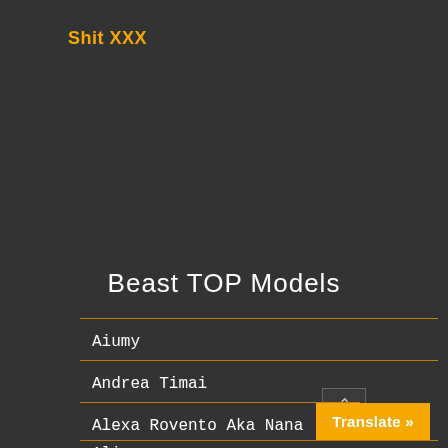Shit XXX
Beast TOP Models
Aiumy
Andrea Timai
Alexa Rovento Aka Nana
Ali
Translate »